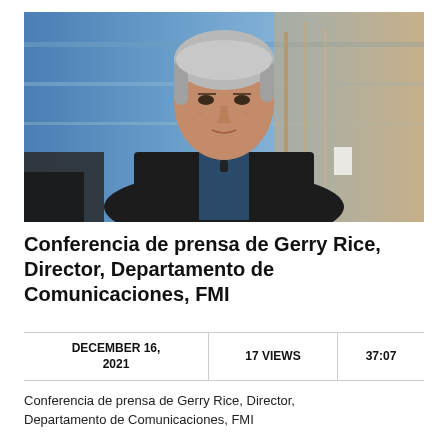[Figure (photo): A man with gray/white hair wearing a dark suit jacket and dark shirt, seated in what appears to be a TV studio setting with a blue and beige/tan background.]
Conferencia de prensa de Gerry Rice, Director, Departamento de Comunicaciones, FMI
| DECEMBER 16, 2021 | 17 VIEWS | 37:07 |
| --- | --- | --- |
Conferencia de prensa de Gerry Rice, Director, Departamento de Comunicaciones, FMI